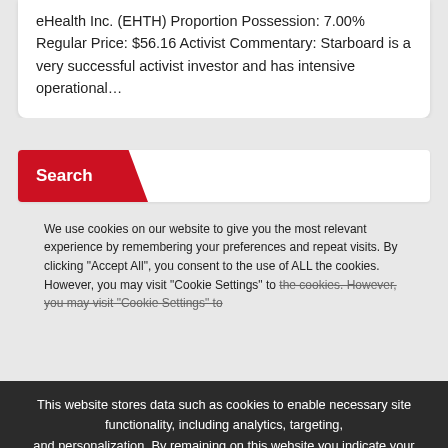eHealth Inc. (EHTH) Proportion Possession: 7.00% Regular Price: $56.16 Activist Commentary: Starboard is a very successful activist investor and has intensive operational…
[Figure (other): Red search bar widget with 'Search' label in a white banner/card area]
We use cookies on our website to give you the most relevant experience by remembering your preferences and repeat visits. By clicking "Accept All", you consent to the use of ALL the cookies. However, you may visit "Cookie Settings" to
This website stores data such as cookies to enable necessary site functionality, including analytics, targeting, and personalization. By remaining on this website you indicate your consent Cookie Policy